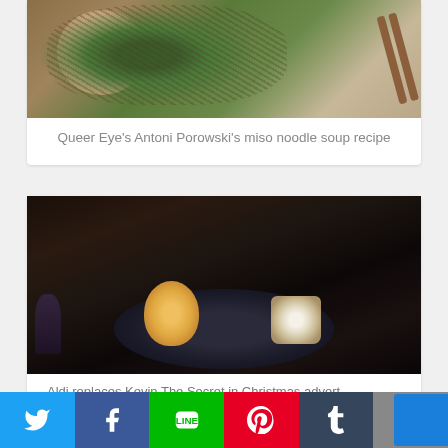[Figure (photo): Bowl of miso noodle soup with greens and chopsticks on the side]
Queer Eye's Antoni Porowski's miso noodle soup recipe
[Figure (photo): Dark moody photo of a mince pie and poached pear on a dark plate, with a wine glass in background]
Aldi replaces Kevin The Secret in Christmas advert